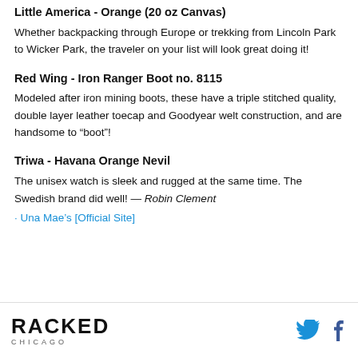Little America - Orange (20 oz Canvas)
Whether backpacking through Europe or trekking from Lincoln Park to Wicker Park, the traveler on your list will look great doing it!
Red Wing - Iron Ranger Boot no. 8115
Modeled after iron mining boots, these have a triple stitched quality, double layer leather toecap and Goodyear welt construction, and are handsome to "boot"!
Triwa - Havana Orange Nevil
The unisex watch is sleek and rugged at the same time. The Swedish brand did well! — Robin Clement
· Una Mae's [Official Site]
RACKED CHICAGO